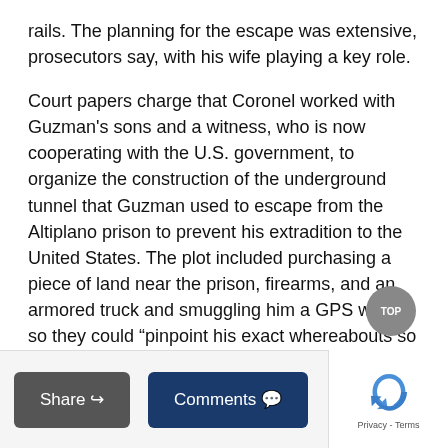rails. The planning for the escape was extensive, prosecutors say, with his wife playing a key role.
Court papers charge that Coronel worked with Guzman's sons and a witness, who is now cooperating with the U.S. government, to organize the construction of the underground tunnel that Guzman used to escape from the Altiplano prison to prevent his extradition to the United States. The plot included purchasing a piece of land near the prison, firearms, and an armored truck and smuggling him a GPS watch so they could “pinpoint his exact whereabouts so as to construct the tunnel with an entry point accessible to him,” the court papers say
Share | Comments | Privacy - Terms